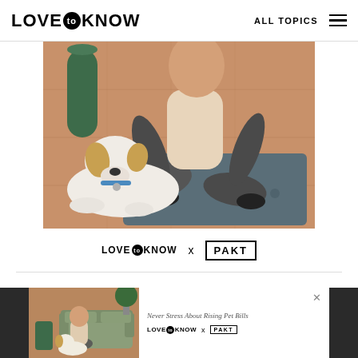LOVE TO KNOW  ALL TOPICS
[Figure (photo): Person sitting cross-legged on a gray yoga mat on a hardwood floor, with a white fluffy dog with brown ears lying beside them on the floor.]
[Figure (logo): LoveToKnow x PAKT partnership logo]
[Figure (photo): Advertisement strip at bottom showing a person sitting next to a sofa with a small dog, and text 'Never Stress About Rising Pet Bills' with LoveToKnow x PAKT logo and a close button.]